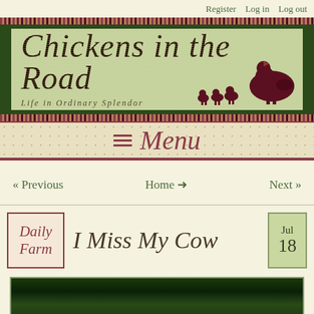Register   Log in   Log out
[Figure (logo): Chickens in the Road blog banner with cursive title, subtitle 'Life in Ordinary Splendor', and chicken silhouette illustrations on a green textured background]
Menu
« Previous   Home →   Next »
I Miss My Cow
[Figure (photo): Outdoor photo showing trees/foliage in dark green tones]